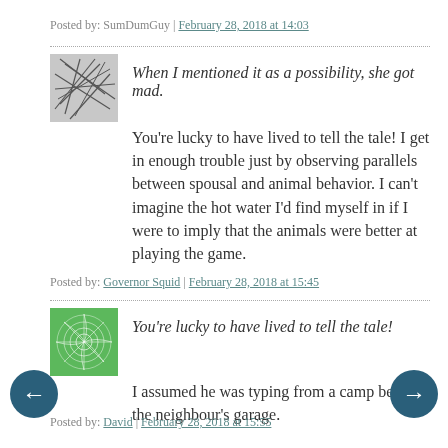Posted by: SumDumGuy | February 28, 2018 at 14:03
When I mentioned it as a possibility, she got mad. You're lucky to have lived to tell the tale! I get in enough trouble just by observing parallels between spousal and animal behavior. I can't imagine the hot water I'd find myself in if I were to imply that the animals were better at playing the game.
Posted by: Governor Squid | February 28, 2018 at 15:45
You're lucky to have lived to tell the tale! I assumed he was typing from a camp bed in the neighbour's garage.
Posted by: David | February 28, 2018 at 15:55